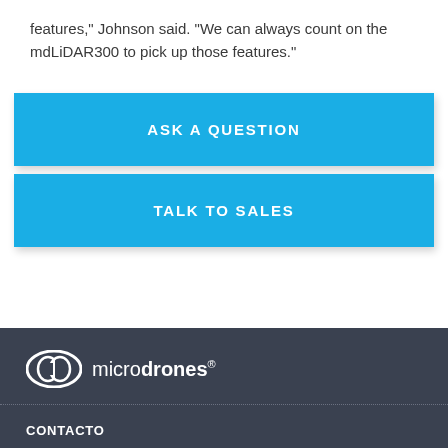features," Johnson said. "We can always count on the mdLiDAR300 to pick up those features."
ASK A QUESTION
TALK TO SALES
[Figure (logo): Microdrones logo with circular icon and text 'microdrones®' in white on dark background]
CONTACTO